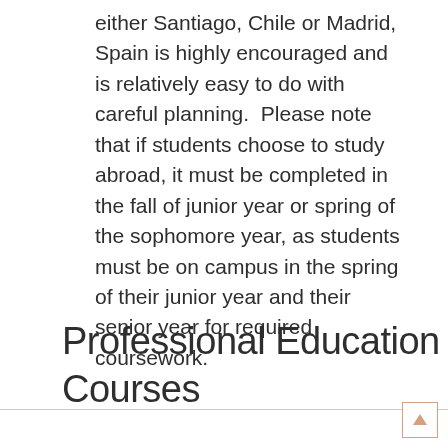either Santiago, Chile or Madrid, Spain is highly encouraged and is relatively easy to do with careful planning.  Please note that if students choose to study abroad, it must be completed in the fall of junior year or spring of the sophomore year, as students must be on campus in the spring of their junior year and their senior year for required coursework.
Professional Education Courses